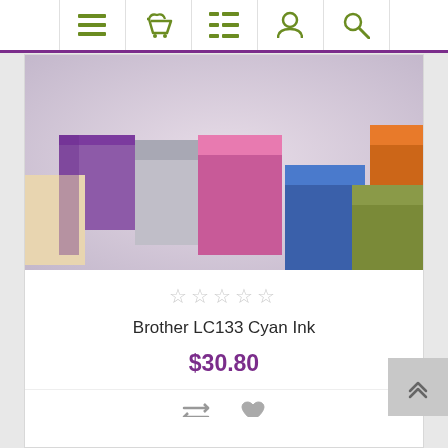[Figure (screenshot): E-commerce website navigation bar with menu, cart, list, user, and search icons in olive green color on white background with purple top border]
[Figure (photo): Multiple colorful ink cartridge tops or marker caps in various colors including purple, pink, blue, orange, green, beige arranged together]
★★★★★ (empty star rating)
Brother LC133 Cyan Ink
$30.80
[Figure (screenshot): Compare and wishlist (heart) action icons in gray]
ADD TO CART